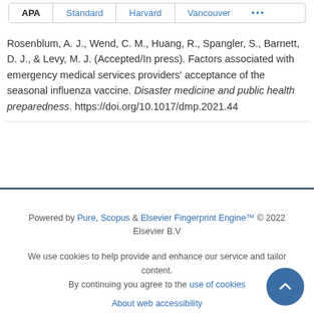APA | Standard | Harvard | Vancouver | ...
Rosenblum, A. J., Wend, C. M., Huang, R., Spangler, S., Barnett, D. J., & Levy, M. J. (Accepted/In press). Factors associated with emergency medical services providers' acceptance of the seasonal influenza vaccine. Disaster medicine and public health preparedness. https://doi.org/10.1017/dmp.2021.44
Powered by Pure, Scopus & Elsevier Fingerprint Engine™ © 2022 Elsevier B.V
We use cookies to help provide and enhance our service and tailor content. By continuing you agree to the use of cookies
About web accessibility